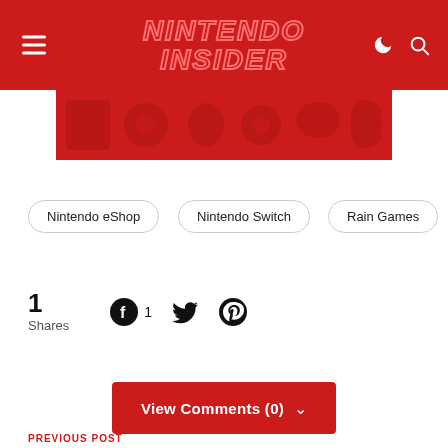NINTENDO INSIDER
[Figure (illustration): Red banner with Nintendo-related game icons/silhouettes in darker red]
Nintendo eShop
Nintendo Switch
Rain Games
1 Shares
View Comments (0)
PREVIOUS POST